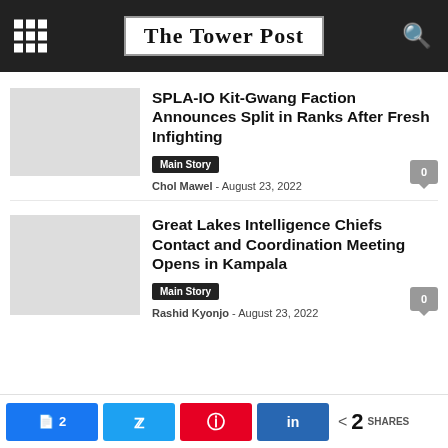The Tower Post
SPLA-IO Kit-Gwang Faction Announces Split in Ranks After Fresh Infighting
Main Story
Chol Mawel - August 23, 2022
Great Lakes Intelligence Chiefs Contact and Coordination Meeting Opens in Kampala
Main Story
Rashid Kyonjo - August 23, 2022
2 SHARES